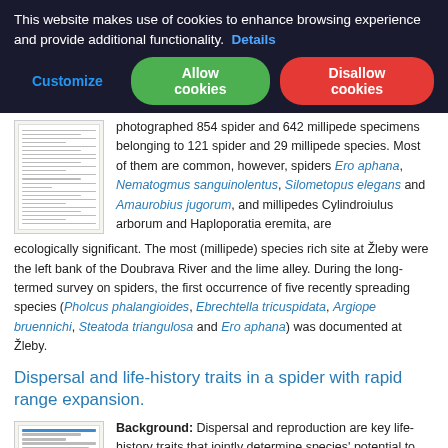This website makes use of cookies to enhance browsing experience and provide additional functionality. Details
Customize | Allow cookies | Disallow cookies
photographed 854 spider and 642 millipede specimens belonging to 121 spider and 29 millipede species. Most of them are common, however, spiders Ero aphana, Nematogmus sanguinolentus, Silometopus elegans and Amaurobius jugorum, and millipedes Cylindroiulus arborum and Haploporatia eremita, are ecologically significant. The most (millipede) species rich site at Žleby were the left bank of the Doubrava River and the lime alley. During the long-termed survey on spiders, the first occurrence of five recently spreading species (Pholcus phalangioides, Ebrechtella tricuspidata, Argiope bruennichi, Steatoda triangulosa and Ero aphana) was documented at Žleby.
Dispersal and life-history traits in a spider with rapid range expansion.
Background: Dispersal and reproduction are key life-history traits that jointly determine species' potential to expand their distribution, for instance in light of ongoing climate change. These life-history